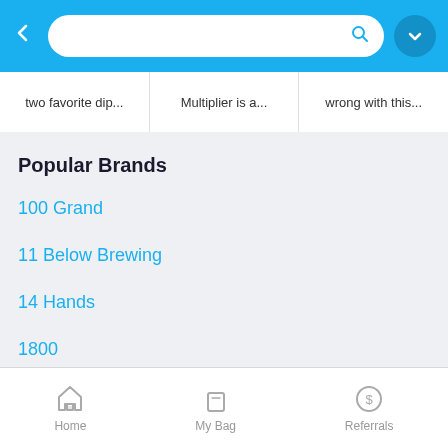[Figure (screenshot): Mobile app top navigation bar with back arrow, search bar, and profile button on blue background]
two favorite dip...   Multiplier is a...   wrong with this...
Popular Brands
100 Grand
11 Below Brewing
14 Hands
1800
1800 Ultimate
Home   My Bag   Referrals